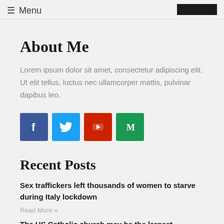☰ Menu
About Me
Lorem ipsum dolor sit amet, consectetur adipiscing elit. Ut elit tellus, luctus nec ullamcorper mattis, pulvinar dapibus leo.
[Figure (infographic): Four social media icon buttons: Facebook (blue), Twitter (light blue), YouTube (red), Medium (green)]
Recent Posts
Sex traffickers left thousands of women to starve during Italy lockdown
Read More »
The US Catholic church may be the largest recipient of